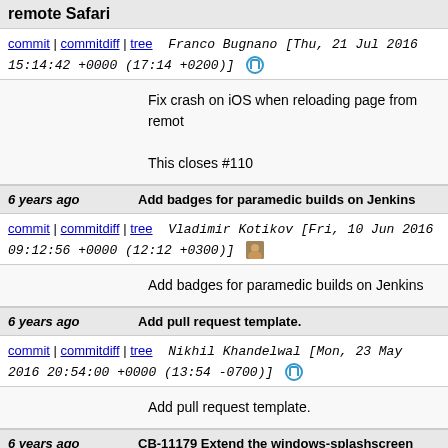remote Safari
commit | commitdiff | tree   Franco Bugnano [Thu, 21 Jul 2016 15:14:42 +0000 (17:14 +0200)]
Fix crash on iOS when reloading page from remote Safari

This closes #110
6 years ago  Add badges for paramedic builds on Jenkins
commit | commitdiff | tree   Vladimir Kotikov [Fri, 10 Jun 2016 09:12:56 +0000 (12:12 +0300)]
Add badges for paramedic builds on Jenkins
6 years ago  Add pull request template.
commit | commitdiff | tree   Nikhil Khandelwal [Mon, 23 May 2016 20:54:00 +0000 (13:54 -0700)]
Add pull request template.
6 years ago  CB-11179 Extend the windows-splashscreen docs  101/head
commit | commitdiff | tree   daserge [Fri, 29 Apr 2016 14:23:19